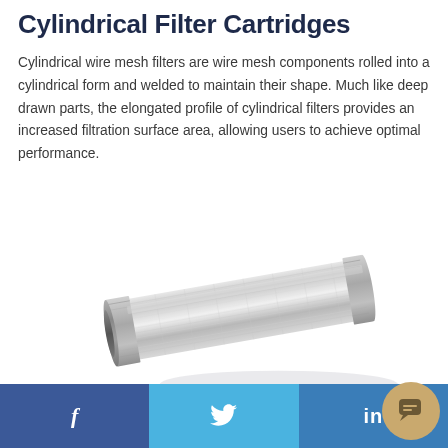Cylindrical Filter Cartridges
Cylindrical wire mesh filters are wire mesh components rolled into a cylindrical form and welded to maintain their shape. Much like deep drawn parts, the elongated profile of cylindrical filters provides an increased filtration surface area, allowing users to achieve optimal performance.
[Figure (photo): A stainless steel cylindrical wire mesh filter cartridge shown at a diagonal angle on a white background. The cylinder is elongated with threaded end caps and a mesh body.]
f  Twitter bird icon  in